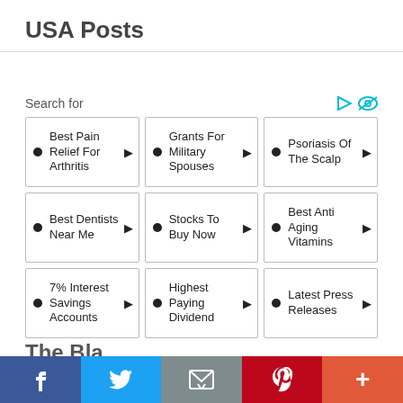USA Posts
Search for
Best Pain Relief For Arthritis
Grants For Military Spouses
Psoriasis Of The Scalp
Best Dentists Near Me
Stocks To Buy Now
Best Anti Aging Vitamins
7% Interest Savings Accounts
Highest Paying Dividend
Latest Press Releases
Facebook  Twitter  Email  Pinterest  More